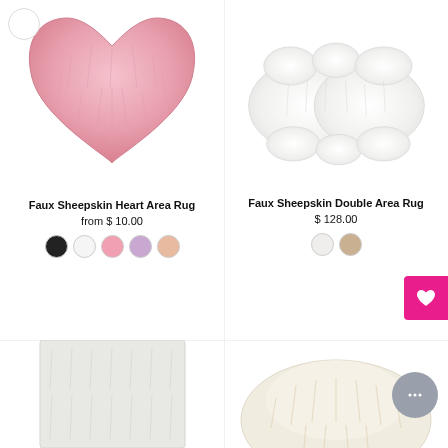[Figure (photo): Pink faux sheepskin heart-shaped area rug on white background]
Faux Sheepskin Heart Area Rug
from $ 10.00
[Figure (photo): White faux sheepskin cloud/double shaped area rug on white background]
Faux Sheepskin Double Area Rug
$ 128.00
[Figure (photo): White/grey rectangular faux fur area rug, partially visible]
[Figure (photo): Cream/beige fluffy round area rug, partially visible]